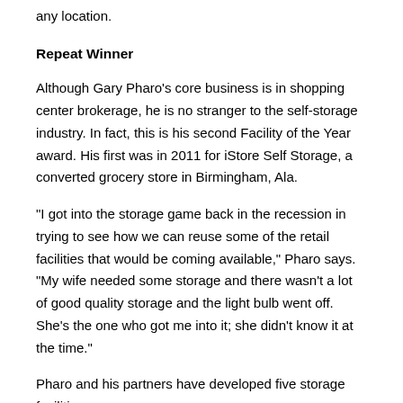any location.
Repeat Winner
Although Gary Pharo's core business is in shopping center brokerage, he is no stranger to the self-storage industry. In fact, this is his second Facility of the Year award. His first was in 2011 for iStore Self Storage, a converted grocery store in Birmingham, Ala.
“I got into the storage game back in the recession in trying to see how we can reuse some of the retail facilities that would be coming available,” Pharo says. “My wife needed some storage and there wasn’t a lot of good quality storage and the light bulb went off. She’s the one who got me into it; she didn’t know it at the time.”
Pharo and his partners have developed five storage facilities